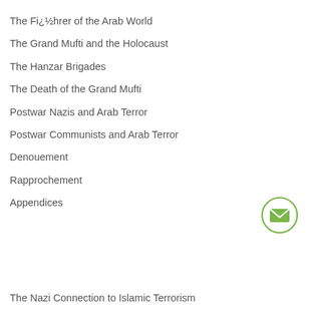The Fi¿½hrer of the Arab World
The Grand Mufti and the Holocaust
The Hanzar Brigades
The Death of the Grand Mufti
Postwar Nazis and Arab Terror
Postwar Communists and Arab Terror
Denouement
Rapprochement
Appendices
[Figure (illustration): Green circle with white envelope icon inside]
The Nazi Connection to Islamic Terrorism